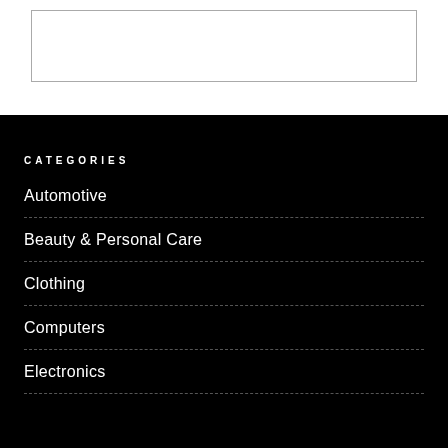[Figure (other): White rectangular search box or input area with grey border on white background]
CATEGORIES
Automotive
Beauty & Personal Care
Clothing
Computers
Electronics